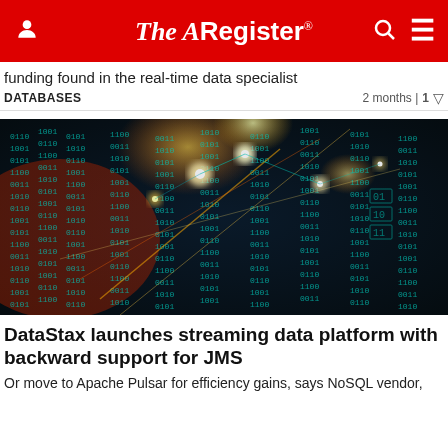The Register
funding found in the real-time data specialist
DATABASES    2 months | 1
[Figure (photo): Digital data network visualization with glowing cyan binary digits and light streaks on dark background]
DataStax launches streaming data platform with backward support for JMS
Or move to Apache Pulsar for efficiency gains, says NoSQL vendor